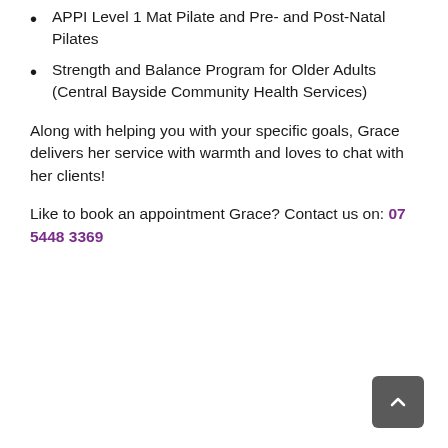APPI Level 1 Mat Pilate and Pre- and Post-Natal Pilates
Strength and Balance Program for Older Adults (Central Bayside Community Health Services)
Along with helping you with your specific goals, Grace delivers her service with warmth and loves to chat with her clients!
Like to book an appointment Grace? Contact us on: 07 5448 3369